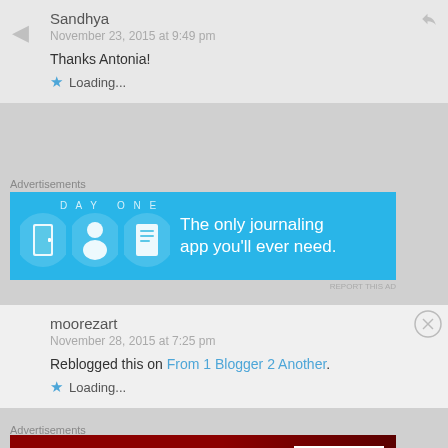Sandhya
November 23, 2015 at 9:49 pm
Thanks Antonia!
★ Loading...
Advertisements
[Figure (illustration): DayOne journaling app advertisement banner. Blue background with icons of a door, person, and notepad. Text: DAY ONE - The only journaling app you'll ever need.]
moorezart
November 28, 2015 at 7:25 pm
Reblogged this on From 1 Blogger 2 Another.
★ Loading...
Advertisements
[Figure (illustration): Macy's advertisement banner. Dark red background with woman's face and lips. Text: KISS BORING LIPS GOODBYE. SHOP NOW. Macy's logo with star.]